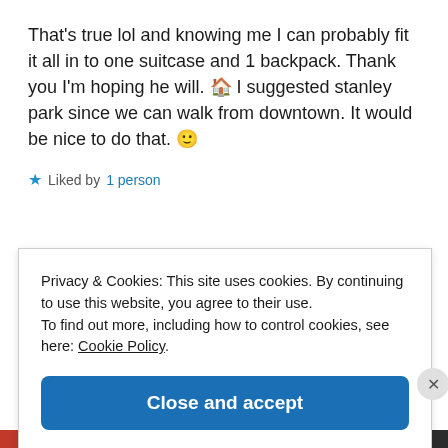That's true lol and knowing me I can probably fit it all in to one suitcase and 1 backpack. Thank you I'm hoping he will. 🏠 I suggested stanley park since we can walk from downtown. It would be nice to do that. 🙂
★ Liked by 1 person
Privacy & Cookies: This site uses cookies. By continuing to use this website, you agree to their use. To find out more, including how to control cookies, see here: Cookie Policy
Close and accept